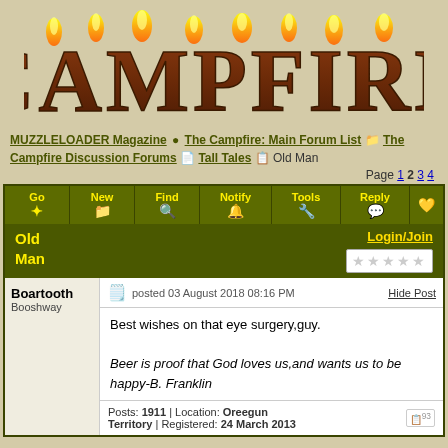[Figure (logo): CAMPFIRE logo with flame-topped wooden letters on tan background]
MUZZLELOADER Magazine ⚙ The Campfire: Main Forum List 📁 The Campfire Discussion Forums 📄 Tall Tales 📋 Old Man
Page 1 2 3 4
Go ✦ | New 📁 | Find 🔍 | Notify 🔔 | Tools 🔧 | Reply 💬
Old Man
Login/Join
★★★★★
Boartooth Booshway
posted 03 August 2018 08:16 PM   Hide Post
Best wishes on that eye surgery,guy.

Beer is proof that God loves us,and wants us to be happy-B. Franklin
Posts: 1911 | Location: Oreegun Territory | Registered: 24 March 2013